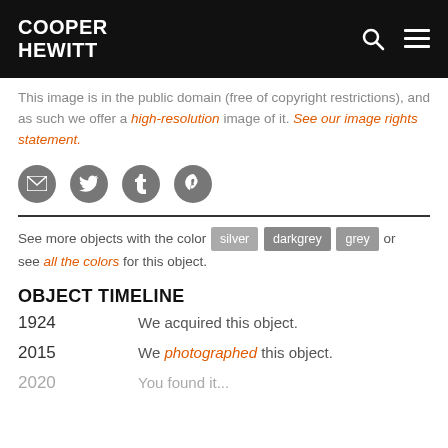COOPER HEWITT
This image is in the public domain (free of copyright restrictions), and as such we offer a high-resolution image of it. See our image rights statement.
[Figure (other): Social media sharing icons: email, Twitter, Tumblr, Pinterest]
See more objects with the color silver darkgrey grey or see all the colors for this object.
OBJECT TIMELINE
1924   We acquired this object.
2015   We photographed this object.
2020   You found it...